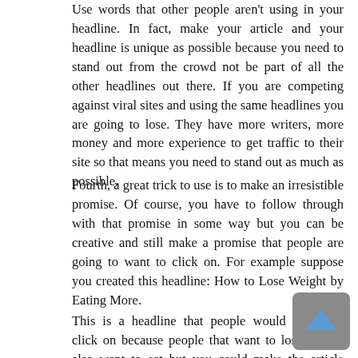Use words that other people aren't using in your headline. In fact, make your article and your headline is unique as possible because you need to stand out from the crowd not be part of all the other headlines out there. If you are competing against viral sites and using the same headlines you are going to lose. They have more writers, more money and more experience to get traffic to their site so that means you need to stand out as much as possible.
Fourth, a great trick to use is to make an irresistible promise. Of course, you have to follow through with that promise in some way but you can be creative and still make a promise that people are going to want to click on. For example suppose you created this headline: How to Lose Weight by Eating More.
This is a headline that people would definitely click on because people that want to lose weight also want to eat but you could make the article about eating negative calorie foods like celery or any foods that burn more